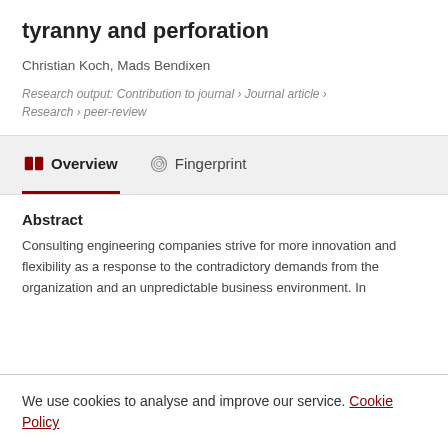tyranny and perforation
Christian Koch, Mads Bendixen
Research output: Contribution to journal › Journal article › Research › peer-review
Overview   Fingerprint
Abstract
Consulting engineering companies strive for more innovation and flexibility as a response to the contradictory demands from the organization and an unpredictable business environment. In
We use cookies to analyse and improve our service. Cookie Policy